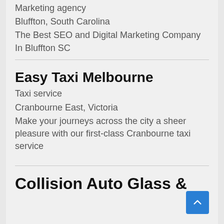Marketing agency
Bluffton, South Carolina
The Best SEO and Digital Marketing Company In Bluffton SC
Easy Taxi Melbourne
Taxi service
Cranbourne East, Victoria
Make your journeys across the city a sheer pleasure with our first-class Cranbourne taxi service
Collision Auto Glass &